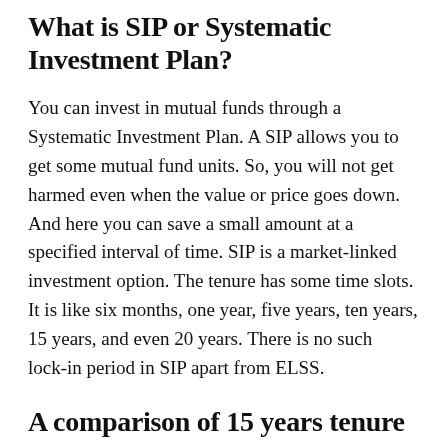What is SIP or Systematic Investment Plan?
You can invest in mutual funds through a Systematic Investment Plan. A SIP allows you to get some mutual fund units. So, you will not get harmed even when the value or price goes down. And here you can save a small amount at a specified interval of time. SIP is a market-linked investment option. The tenure has some time slots. It is like six months, one year, five years, ten years, 15 years, and even 20 years. There is no such lock-in period in SIP apart from ELSS.
A comparison of 15 years tenure